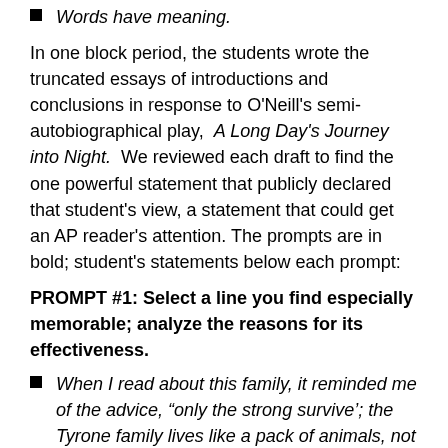Words have meaning.
In one block period, the students wrote the truncated essays of introductions and conclusions in response to O'Neill's semi-autobiographical play, A Long Day's Journey into Night. We reviewed each draft to find the one powerful statement that publicly declared that student's view, a statement that could get an AP reader's attention. The prompts are in bold; student's statements below each prompt:
PROMPT #1: Select a line you find especially memorable; analyze the reasons for its effectiveness.
When I read about this family, it reminded me of the advice, “only the strong survive’; the Tyrone family lives like a pack of animals, not a family.